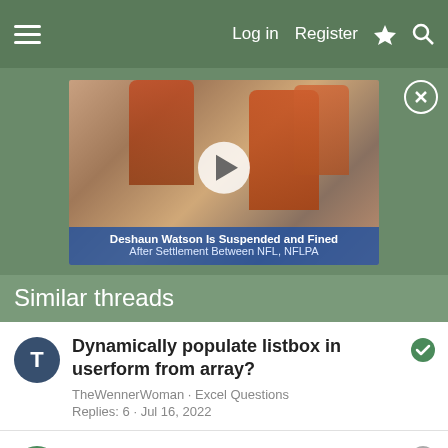Log in · Register
[Figure (photo): Video thumbnail showing NFL players with play button overlay. Caption: 'Deshaun Watson Is Suspended and Fined After Settlement Between NFL, NFLPA']
Similar threads
Dynamically populate listbox in userform from array?
TheWennerWoman · Excel Questions
Replies: 6 · Jul 16, 2022
How can I hide row in listbox based on a condition?
matix003 · Excel Questions
Replies: 1 · Apr 5, 2022